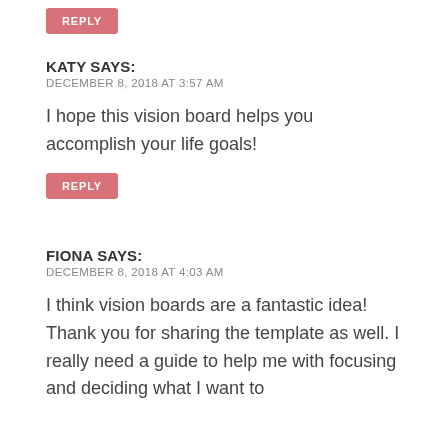REPLY
KATY SAYS:
DECEMBER 8, 2018 AT 3:57 AM
I hope this vision board helps you accomplish your life goals!
REPLY
FIONA SAYS:
DECEMBER 8, 2018 AT 4:03 AM
I think vision boards are a fantastic idea! Thank you for sharing the template as well. I really need a guide to help me with focusing and deciding what I want to